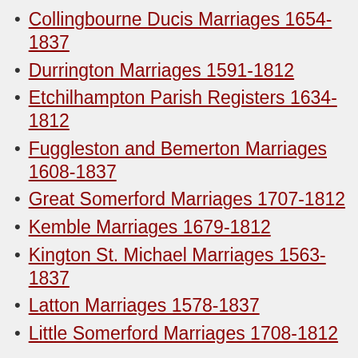Collingbourne Ducis Marriages 1654-1837
Durrington Marriages 1591-1812
Etchilhampton Parish Registers 1634-1812
Fuggleston and Bemerton Marriages 1608-1837
Great Somerford Marriages 1707-1812
Kemble Marriages 1679-1812
Kington St. Michael Marriages 1563-1837
Latton Marriages 1578-1837
Little Somerford Marriages 1708-1812